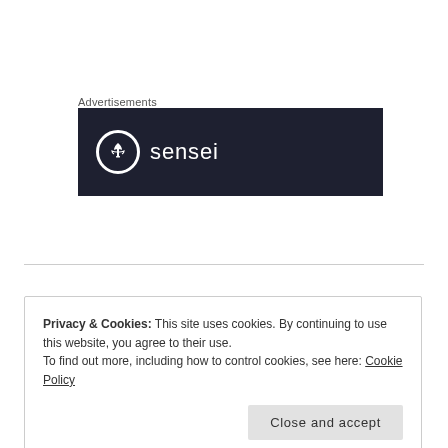Advertisements
[Figure (logo): Sensei logo on dark navy background — circular icon with bonsai tree symbol and the word 'sensei' in white text]
Privacy & Cookies: This site uses cookies. By continuing to use this website, you agree to their use.
To find out more, including how to control cookies, see here: Cookie Policy
Close and accept